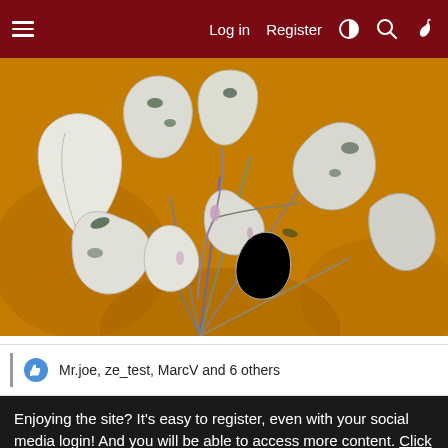Log in  Register
[Figure (photo): Close-up photograph of a white and green variegated plant with elongated curling leaves and thin purple-green stems, against an orange/golden background]
Mr.joe, ze_test, MarcV and 6 others
Enjoying the site? It's easy to register, even with your social media login! And you will be able to access more content. Click Here to register now!